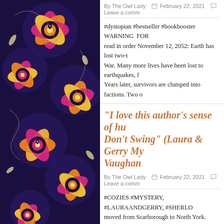[Figure (illustration): Decorative side panel with colorful floral/mandala pattern on dark background, featuring pinks, oranges, yellows and whites on navy/dark indigo]
By The Owl Lady  February 22, 2021  Leave a comm
#dystopian #bestseller #bookbooster WARNING FOR read in order November 12, 2052: Earth has lost two-t War. Many more lives have been lost to earthquakes, f Years later, survivors are clumped into factions. Two o
"I love this author's sense of hu Don't Swing" (Laura & Gerry My Vaughan
By The Owl Lady  February 22, 2021  Leave a comm
#COZIES #MYSTERY, #LAURAANDGERRY, #SHERLO moved from Scarborough to North York. Death has fol manage and Laura has to deal with a tenant with attit dumpster. Cookie the corpse magnet strikes again in t
"I absolutely adore the artists